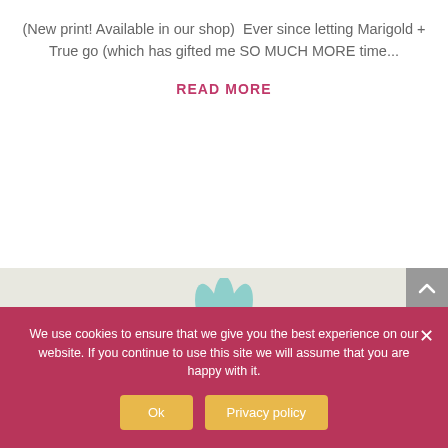(New print! Available in our shop)  Ever since letting Marigold + True go (which has gifted me SO MUCH MORE time...
READ MORE
[Figure (illustration): Teal/mint colored flower or plant decorative illustration at the bottom of the page footer area]
We use cookies to ensure that we give you the best experience on our website. If you continue to use this site we will assume that you are happy with it.
Ok
Privacy policy